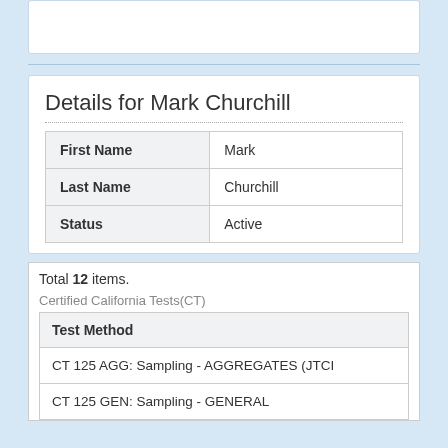Details for Mark Churchill
| Field | Value |
| --- | --- |
| First Name | Mark |
| Last Name | Churchill |
| Status | Active |
Total 12 items.
Certified California Tests(CT)
| Test Method |
| --- |
| CT 125 AGG: Sampling - AGGREGATES (JTCI |
| CT 125 GEN: Sampling - GENERAL |